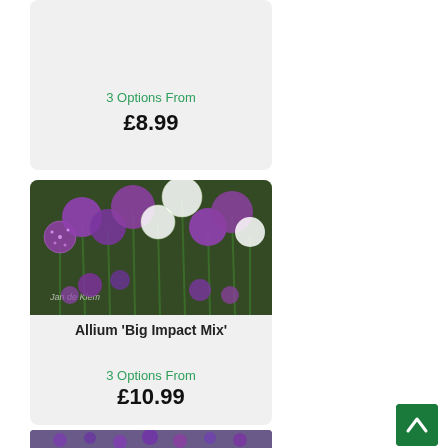[Figure (other): Partial product card top showing price section on grey background]
3 Options From
£8.99
[Figure (photo): Allium Big Impact Mix flowers — purple and white spherical allium blooms on tall green stems against a blurred garden background, with 'Jan de Klem' watermark]
Allium 'Big Impact Mix'
3 Options From
£10.99
[Figure (photo): Partial view of another allium product card showing purple flowers at the bottom of the page]
[Figure (other): Green scroll-to-top button with white upward arrow in the bottom right corner]